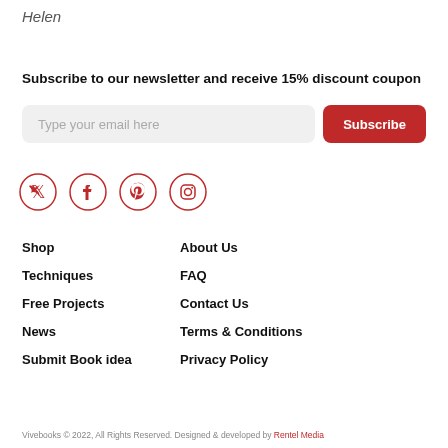Helen
Subscribe to our newsletter and receive 15% discount coupon
[Figure (infographic): Email subscription form with text input 'Type your email here' and a red 'Subscribe' button]
[Figure (infographic): Social media icons in red circles: Twitter, Facebook, Pinterest, Instagram]
Shop
About Us
Techniques
FAQ
Free Projects
Contact Us
News
Terms & Conditions
Submit Book idea
Privacy Policy
Vivebooks © 2022, All Rights Reserved. Designed & developed by Rentel Media